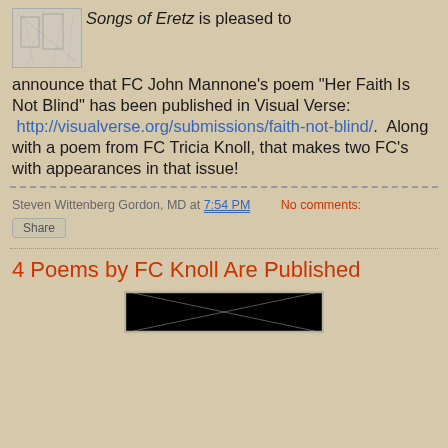[Figure (illustration): Small thumbnail sketch/illustration of figures]
Songs of Eretz is pleased to announce that FC John Mannone's poem "Her Faith Is Not Blind" has been published in Visual Verse: http://visualverse.org/submissions/faith-not-blind/.  Along with a poem from FC Tricia Knoll, that makes two FC's with appearances in that issue!
Steven Wittenberg Gordon, MD at 7:54 PM    No comments:
Share
4 Poems by FC Knoll Are Published
[Figure (photo): Partial image at bottom of page]